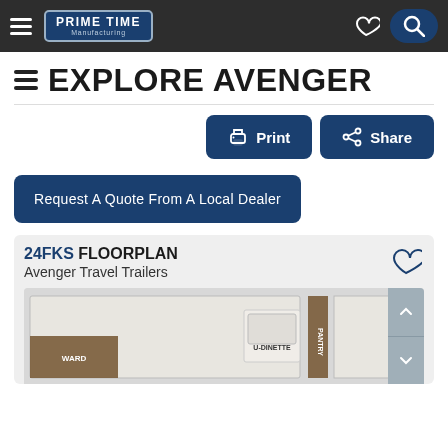Prime Time Manufacturing — navigation bar with hamburger menu, logo, heart icon, search button
EXPLORE AVENGER
[Figure (other): Print button and Share button side by side]
[Figure (other): Request A Quote From A Local Dealer button]
[Figure (other): 24FKS Floorplan card showing Avenger Travel Trailers with a partial floor plan image showing U-DINETTE, PANTRY, and WARD labels]